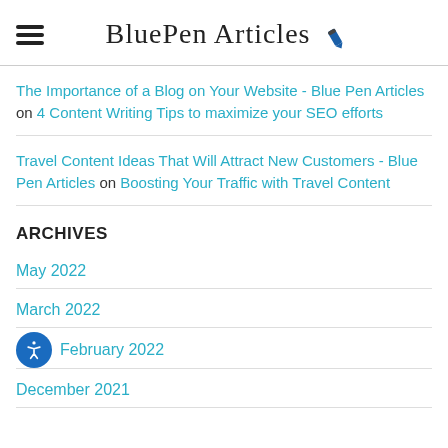BluePen Articles
The Importance of a Blog on Your Website - Blue Pen Articles on 4 Content Writing Tips to maximize your SEO efforts
Travel Content Ideas That Will Attract New Customers - Blue Pen Articles on Boosting Your Traffic with Travel Content
ARCHIVES
May 2022
March 2022
February 2022
December 2021